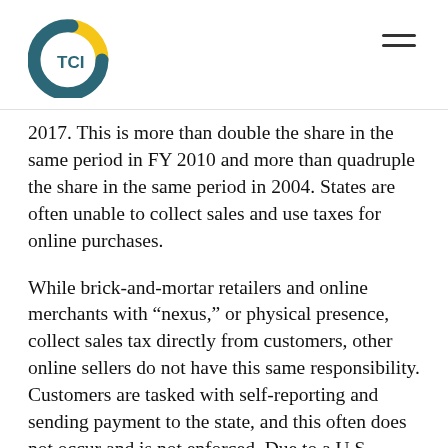TCI logo and navigation menu
2017. This is more than double the share in the same period in FY 2010 and more than quadruple the share in the same period in 2004. States are often unable to collect sales and use taxes for online purchases.
While brick-and-mortar retailers and online merchants with “nexus,” or physical presence, collect sales tax directly from customers, other online sellers do not have this same responsibility. Customers are tasked with self-reporting and sending payment to the state, and this often does not occur and is not enforced. Due to a U.S. Supreme Court ruling on this issue, states are limited in their ability to require sellers to collect this